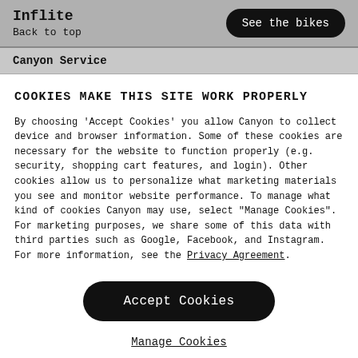Inflite
Back to top
See the bikes
Canyon Service
COOKIES MAKE THIS SITE WORK PROPERLY
By choosing 'Accept Cookies' you allow Canyon to collect device and browser information. Some of these cookies are necessary for the website to function properly (e.g. security, shopping cart features, and login). Other cookies allow us to personalize what marketing materials you see and monitor website performance. To manage what kind of cookies Canyon may use, select "Manage Cookies". For marketing purposes, we share some of this data with third parties such as Google, Facebook, and Instagram. For more information, see the Privacy Agreement.
Accept Cookies
Manage Cookies